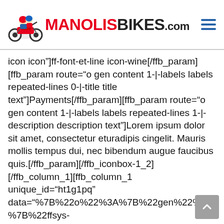MANOLISBIKES.com
icon icon"]ff-font-et-line icon-wine[/ffb_param][ffb_param route="o gen content 1-|-labels labels repeated-lines 0-|-title title text"]Payments[/ffb_param][ffb_param route="o gen content 1-|-labels labels repeated-lines 1-|-description description text"]Lorem ipsum dolor sit amet, consectetur eturadipis cingelit. Mauris mollis tempus dui, nec bibendum augue faucibus quis.[/ffb_param][/ffb_iconbox-1_2][/ffb_column_1][ffb_column_1 unique_id="ht1g1pq" data="%7B%22o%22%3A%7B%22gen%22%3A%7B%22ffsys-